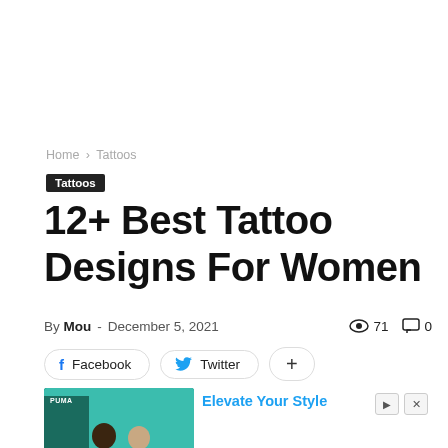Home › Tattoos
Tattoos
12+ Best Tattoo Designs For Women
By Mou - December 5, 2021  👁 71  💬 0
Facebook  Twitter  +
[Figure (photo): Advertisement photo showing two people in Puma clothing sitting outdoors against a teal wall]
Elevate Your Style
Ad